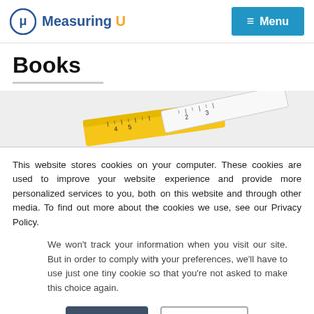Measuring U  ≡ Menu
Books
[Figure (photo): Measuring tape tools on a light background — yellow and white tape measures]
This website stores cookies on your computer. These cookies are used to improve your website experience and provide more personalized services to you, both on this website and through other media. To find out more about the cookies we use, see our Privacy Policy.
We won't track your information when you visit our site. But in order to comply with your preferences, we'll have to use just one tiny cookie so that you're not asked to make this choice again.
Accept   Decline